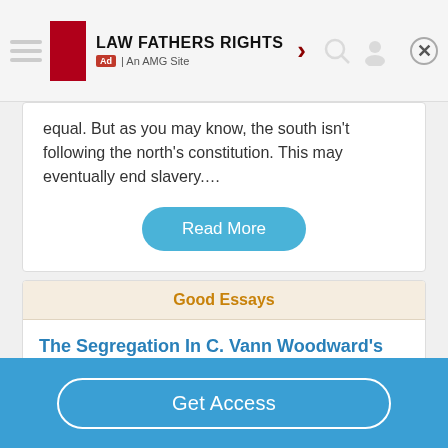[Figure (other): Advertisement banner for LAW FATHERS RIGHTS, An AMG Site, with logo, arrow, search and profile icons, and close button]
equal. But as you may know, the south isn't following the north's constitution. This may eventually end slavery....
Read More
Good Essays
The Segregation In C. Vann Woodward's The Strange Career Of Jim Crow
536 Words
3 Pages
Get Access